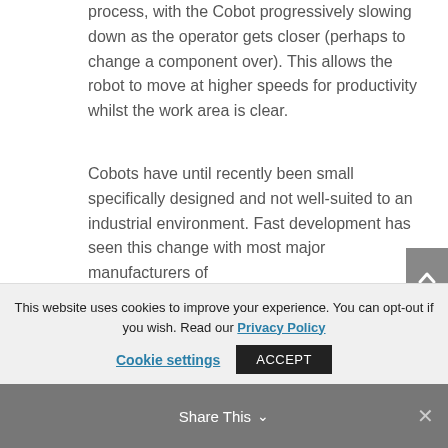process, with the Cobot progressively slowing down as the operator gets closer (perhaps to change a component over). This allows the robot to move at higher speeds for productivity whilst the work area is clear.
Cobots have until recently been small specifically designed and not well-suited to an industrial environment. Fast development has seen this change with most major manufacturers of
This website uses cookies to improve your experience. You can opt-out if you wish. Read our Privacy Policy
Cookie settings
ACCEPT
Share This